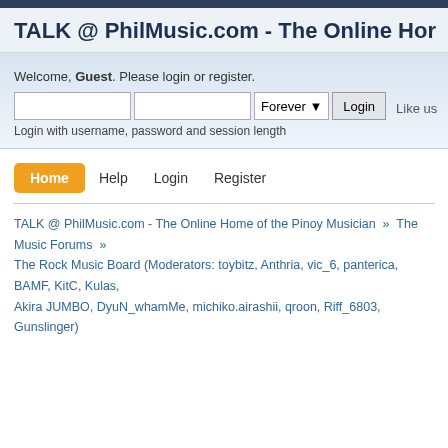TALK @ PhilMusic.com - The Online Hom
Welcome, Guest. Please login or register.
Login with username, password and session length
Like us
Home  Help  Login  Register
TALK @ PhilMusic.com - The Online Home of the Pinoy Musician » The Music Forums » The Rock Music Board (Moderators: toybitz, Anthria, vic_6, panterica, BAMF, KitC, Kulas, Akira JUMBO, DyuN_whamMe, michiko.airashii, qroon, Riff_6803, Gunslinger)